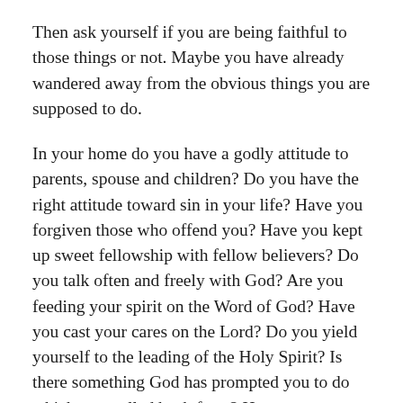Then ask yourself if you are being faithful to those things or not. Maybe you have already wandered away from the obvious things you are supposed to do.
In your home do you have a godly attitude to parents, spouse and children? Do you have the right attitude toward sin in your life? Have you forgiven those who offend you? Have you kept up sweet fellowship with fellow believers? Do you talk often and freely with God? Are you feeding your spirit on the Word of God? Have you cast your cares on the Lord? Do you yield yourself to the leading of the Holy Spirit? Is there something God has prompted you to do which you pulled back from? Have you repented to God for anything you have done that offends Him?